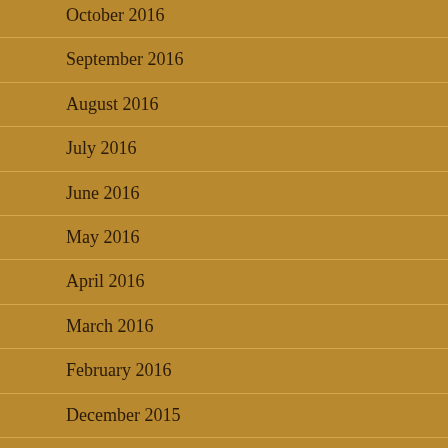October 2016
September 2016
August 2016
July 2016
June 2016
May 2016
April 2016
March 2016
February 2016
December 2015